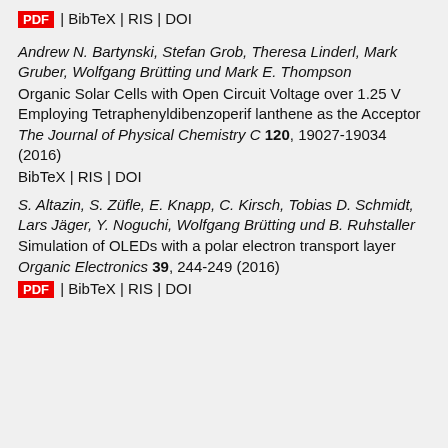PDF | BibTeX | RIS | DOI
Andrew N. Bartynski, Stefan Grob, Theresa Linderl, Mark Gruber, Wolfgang Brütting und Mark E. Thompson
Organic Solar Cells with Open Circuit Voltage over 1.25 V Employing Tetraphenyldibenzoperif lanthene as the Acceptor
The Journal of Physical Chemistry C 120, 19027-19034 (2016)
BibTeX | RIS | DOI
S. Altazin, S. Züfle, E. Knapp, C. Kirsch, Tobias D. Schmidt, Lars Jäger, Y. Noguchi, Wolfgang Brütting und B. Ruhstaller
Simulation of OLEDs with a polar electron transport layer
Organic Electronics 39, 244-249 (2016)
PDF | BibTeX | RIS | DOI